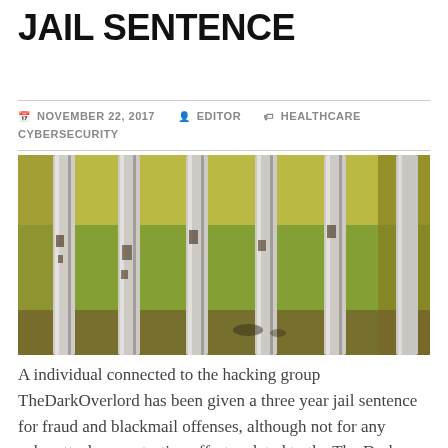JAIL SENTENCE
NOVEMBER 22, 2017  EDITOR  HEALTHCARE CYBERSECURITY
[Figure (photo): Close-up photograph of prison cell bars, white metal bars with peeling paint against a yellow-green wall background.]
A individual connected to the hacking group TheDarkOverlord has been given a three year jail sentence for fraud and blackmail offenses, although not for any cyberattacks or extortion efforts related to the The Dark Overlord gang.